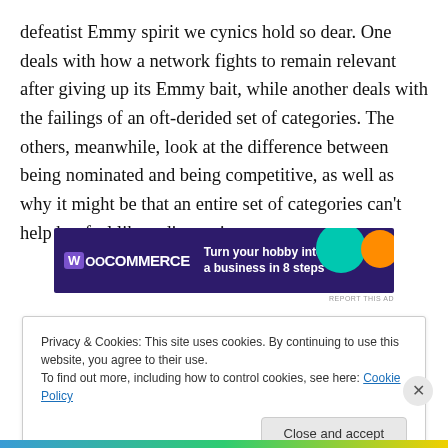defeatist Emmy spirit we cynics hold so dear. One deals with how a network fights to remain relevant after giving up its Emmy bait, while another deals with the failings of an oft-derided set of categories. The others, meanwhile, look at the difference between being nominated and being competitive, as well as why it might be that an entire set of categories can't help but feel like a disappointment.
[Figure (other): WooCommerce advertisement banner: dark purple background with WooCommerce logo and text 'Turn your hobby into a business in 8 steps', with teal and orange decorative circles]
Privacy & Cookies: This site uses cookies. By continuing to use this website, you agree to their use.
To find out more, including how to control cookies, see here: Cookie Policy